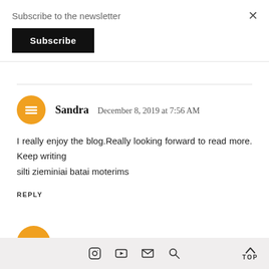Subscribe to the newsletter
Subscribe
Sandra  December 8, 2019 at 7:56 AM
I really enjoy the blog.Really looking forward to read more. Keep writing
silti zieminiai batai moterims
REPLY
[Figure (other): Blogger avatar icon (partial, second commenter)]
Instagram YouTube Email Search  TOP